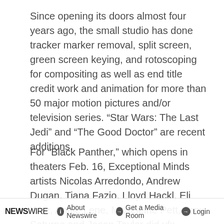Since opening its doors almost four years ago, the small studio has done tracker marker removal, split screen, green screen keying, and rotoscoping for compositing as well as end title credit work and animation for more than 50 major motion pictures and/or television series. “Star Wars: The Last Jedi” and “The Good Doctor” are recent additions.
For “Black Panther,” which opens in theaters Feb. 16, Exceptional Minds artists Nicolas Arredondo, Andrew Dugan, Tiana Fazio, Lloyd Hackl, Eli Katz, Annie Lene, Madeleine Pett, Tony Saturno and Jason Taylor did vfx
NEWSWIRE   About Newswire   Get a Media Room   Login